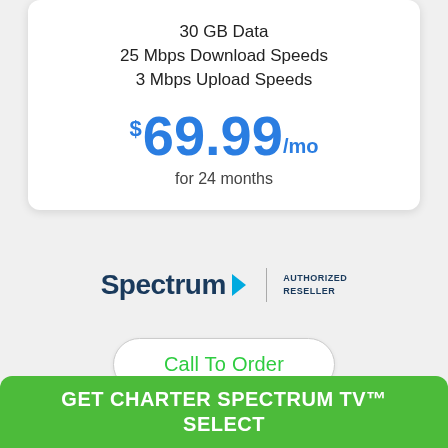30 GB Data
25 Mbps Download Speeds
3 Mbps Upload Speeds
$69.99/mo
for 24 months
[Figure (logo): Spectrum Authorized Reseller logo]
Call To Order
GET CHARTER SPECTRUM TV™ SELECT